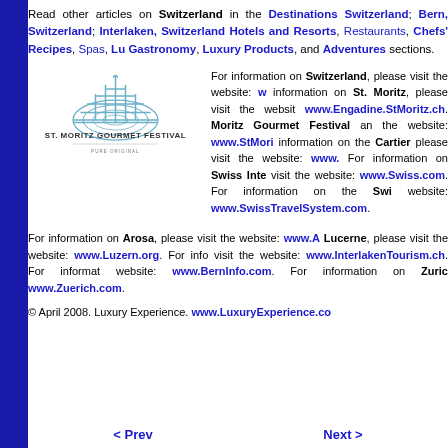Read other articles on Switzerland in the Destinations Switzerland; Bern, Switzerland; Interlaken, Switzerland Hotels and Resorts, Restaurants, Chefs' Recipes, Spas, Luxury Gastronomy, Luxury Products, and Adventures sections.
[Figure (logo): St. Moritz Gourmet Festival logo with dome/peak graphic and tagline 'PURE ORIGINAL']
For information on Switzerland, please visit the website: w... information on St. Moritz, please visit the website www.Engadine.StMoritz.ch. Moritz Gourmet Festival and the website: www.StMori... information on the Cartier please visit the website: www.... For information on Swiss Inte... visit the website: www.Swiss.com. For information on the Swi... website: www.SwissTravelSystem.com.
For information on Arosa, please visit the website: www.A... Lucerne, please visit the website: www.Luzern.org. For info... visit the website: www.InterlakenTourism.ch. For informat... website: www.BernInfo.com. For information on Zurich... www.Zuerich.com.
© April 2008. Luxury Experience. www.LuxuryExperience.co...
< Prev    Next >